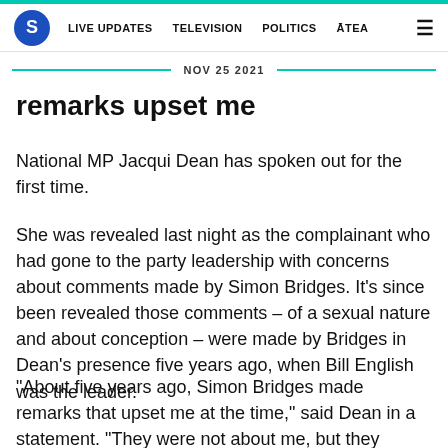S | LIVE UPDATES | TELEVISION | POLITICS | ĀTEA | ☰
NOV 25 2021
remarks upset me
National MP Jacqui Dean has spoken out for the first time.
She was revealed last night as the complainant who had gone to the party leadership with concerns about comments made by Simon Bridges. It's since been revealed those comments – of a sexual nature and about conception – were made by Bridges in Dean's presence five years ago, when Bill English was the leader.
“About five years ago, Simon Bridges made remarks that upset me at the time,” said Dean in a statement. “They were not about me, but they